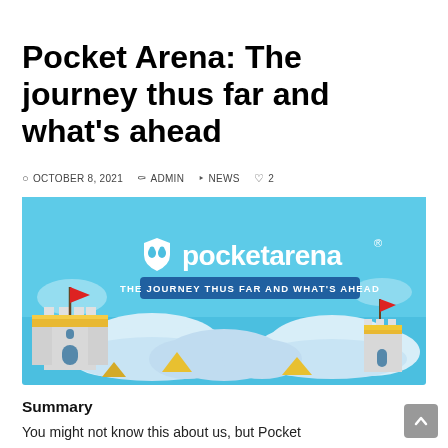Pocket Arena: The journey thus far and what's ahead
OCTOBER 8, 2021  ADMIN  NEWS  ♡ 2
[Figure (illustration): Pocket Arena promotional banner with sky-blue background showing the pocketarena logo with a shield mascot icon, subtitle text 'THE JOURNEY THUS FAR AND WHAT'S AHEAD' in a blue bar, and cartoon castles with red flags and clouds in the lower portion.]
Summary
You might not know this about us, but Pocket